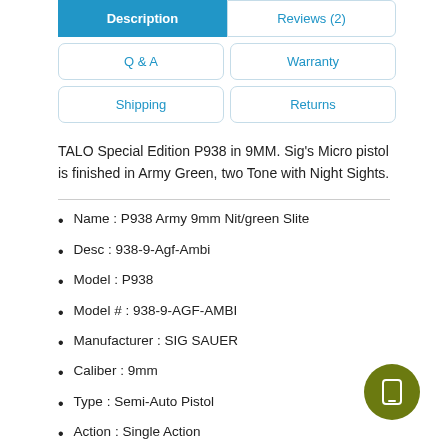[Figure (screenshot): Tab navigation with Description (active/blue), Reviews (2), Q & A, Warranty, Shipping, Returns buttons]
TALO Special Edition P938 in 9MM. Sig's Micro pistol is finished in Army Green, two Tone with Night Sights.
Name : P938 Army 9mm Nit/green Slite
Desc : 938-9-Agf-Ambi
Model : P938
Model # : 938-9-AGF-AMBI
Manufacturer : SIG SAUER
Caliber : 9mm
Type : Semi-Auto Pistol
Action : Single Action
Barrel : 3"
Capacity : 7+1
Finish : Nitron